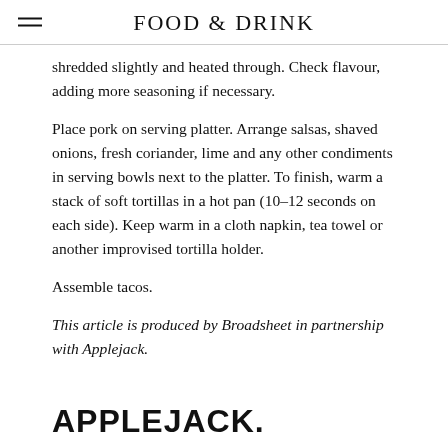FOOD & DRINK
shredded slightly and heated through. Check flavour, adding more seasoning if necessary.
Place pork on serving platter. Arrange salsas, shaved onions, fresh coriander, lime and any other condiments in serving bowls next to the platter. To finish, warm a stack of soft tortillas in a hot pan (10–12 seconds on each side). Keep warm in a cloth napkin, tea towel or another improvised tortilla holder.
Assemble tacos.
This article is produced by Broadsheet in partnership with Applejack.
[Figure (logo): APPLEJACK. logo in bold black sans-serif font]